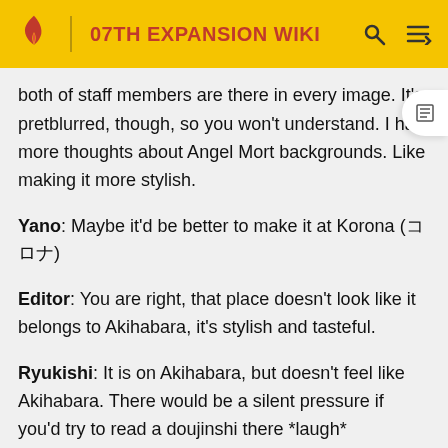07TH EXPANSION WIKI
both of staff members are there in every image. It's pretty blurred, though, so you won't understand. I had more thoughts about Angel Mort backgrounds. Like making it more stylish.
Yano: Maybe it'd be better to make it at Korona (コロナ)
Editor: You are right, that place doesn't look like it belongs to Akihabara, it's stylish and tasteful.
Ryukishi: It is on Akihabara, but doesn't feel like Akihabara. There would be a silent pressure if you'd try to read a doujinshi there *laugh*
(Everyone remains silent for some time)